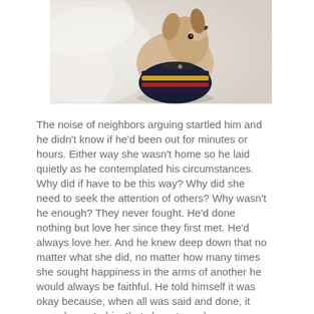[Figure (photo): A small Chihuahua dog wearing a dark knitted sweater with yellow and red stripes, looking upward. The background is soft and blurred with light tones.]
The noise of neighbors arguing startled him and he didn't know if he'd been out for minutes or hours. Either way she wasn't home so he laid quietly as he contemplated his circumstances. Why did if have to be this way? Why did she need to seek the attention of others? Why wasn't he enough? They never fought. He'd done nothing but love her since they first met. He'd always love her. And he knew deep down that no matter what she did, no matter how many times she sought happiness in the arms of another he would always be faithful. He told himself it was okay because, when all was said and done, it was always to him that she returned.